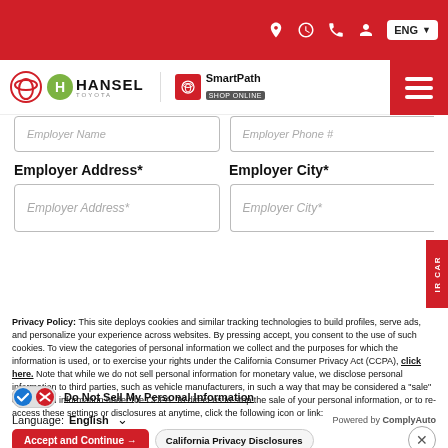Hansel Toyota website header with navigation icons and ENG language selector
[Figure (logo): Hansel Toyota logo with SmartPath Shop Online logo]
Employer Name (input placeholder)
Employer Phone # (input placeholder)
Employer Address*
Employer City*
Employer Address* (input placeholder)
Employer City* (input placeholder)
Privacy Policy: This site deploys cookies and similar tracking technologies to build profiles, serve ads, and personalize your experience across websites. By pressing accept, you consent to the use of such cookies. To view the categories of personal information we collect and the purposes for which the information is used, or to exercise your rights under the California Consumer Privacy Act (CCPA), click here. Note that while we do not sell personal information for monetary value, we disclose personal information to third parties, such as vehicle manufacturers, in such a way that may be considered a "sale" of personal information under the CCPA. To direct us to stop the sale of your personal information, or to re-access these settings or disclosures at anytime, click the following icon or link:
Do Not Sell My Personal Information
Language: English
Powered by ComplyAuto
Accept and Continue →
California Privacy Disclosures